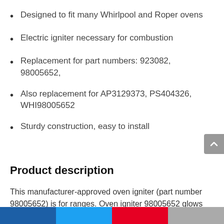Designed to fit many Whirlpool and Roper ovens
Electric igniter necessary for combustion
Replacement for part numbers: 923082, 98005652,
Also replacement for AP3129373, PS404326, WHI98005652
Sturdy construction, easy to install
Product description
This manufacturer-approved oven igniter (part number 98005652) is for ranges. Oven igniter 98005652 glows white